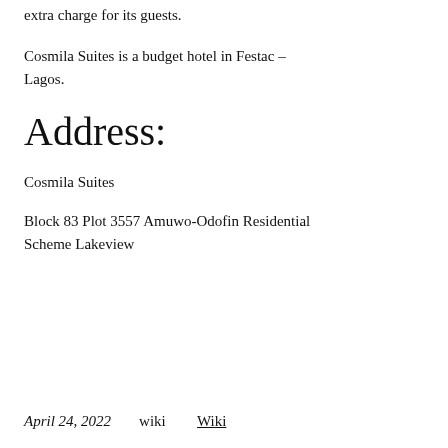extra charge for its guests.
Cosmila Suites is a budget hotel in Festac – Lagos.
Address:
Cosmila Suites
Block 83 Plot 3557 Amuwo-Odofin Residential Scheme Lakeview
April 24, 2022   wiki   Wiki